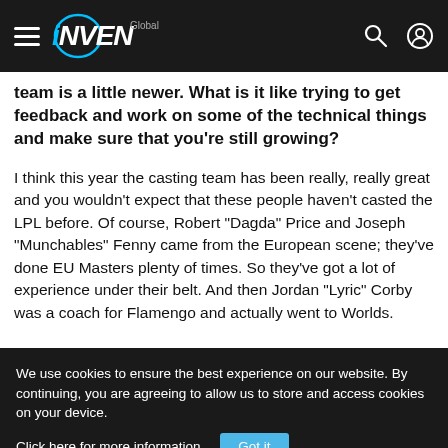INVEN Global
team is a little newer. What is it like trying to get feedback and work on some of the technical things and make sure that you're still growing?
I think this year the casting team has been really, really great and you wouldn't expect that these people haven't casted the LPL before. Of course, Robert "Dagda" Price and Joseph "Munchables" Fenny came from the European scene; they've done EU Masters plenty of times. So they've got a lot of experience under their belt. And then Jordan "Lyric" Corby was a coach for Flamengo and actually went to Worlds.
We use cookies to ensure the best experience on our website. By continuing, you are agreeing to allow us to store and access cookies on your device. Click here for more information. Got it